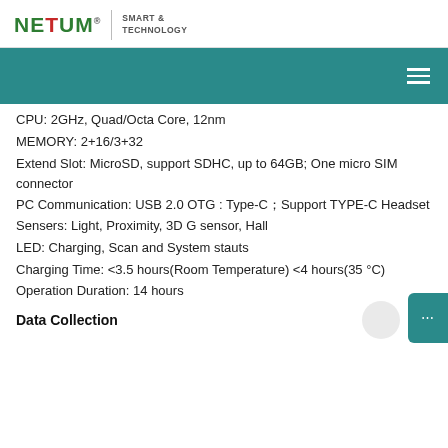[Figure (logo): NETUM Smart & Technology logo with stylized colored letters and registered trademark symbol]
[Figure (other): Teal navigation bar with hamburger menu icon on the right]
CPU: 2GHz, Quad/Octa Core, 12nm
MEMORY: 2+16/3+32
Extend Slot: MicroSD, support SDHC, up to 64GB; One micro SIM connector
PC Communication: USB 2.0 OTG : Type-C；Support TYPE-C Headset
Sensers: Light, Proximity, 3D G sensor, Hall
LED: Charging, Scan and System stauts
Charging Time: <3.5 hours(Room Temperature) <4 hours(35 °C)
Operation Duration: 14 hours
Data Collection